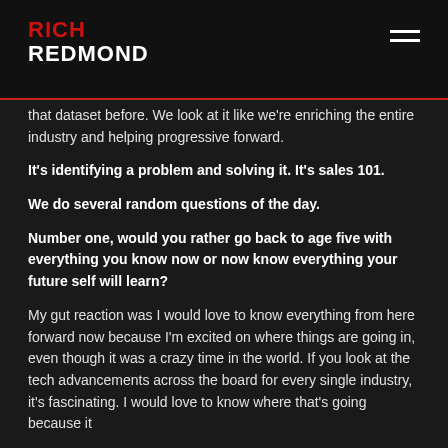RICH REDMOND
that dataset before. We look at it like we're enriching the entire industry and helping progressive forward.
It's identifying a problem and solving it. It's sales 101.
We do several random questions of the day.
Number one, would you rather go back to age five with everything you know now or now know everything your future self will learn?
My gut reaction was I would love to know everything from here forward now because I'm excited on where things are going in, even though it was a crazy time in the world. If you look at the tech advancements across the board for every single industry, it's fascinating. I would love to know where that's going because it